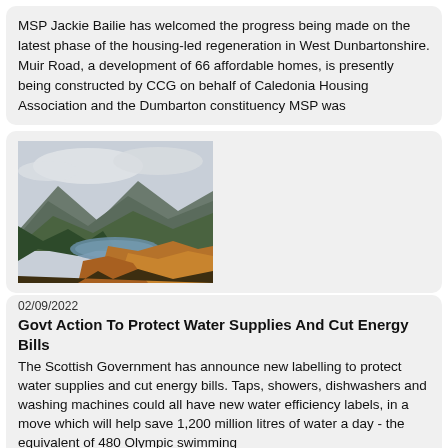MSP Jackie Bailie has welcomed the progress being made on the latest phase of the housing-led regeneration in West Dunbartonshire. Muir Road, a development of 66 affordable homes, is presently being constructed by CCG on behalf of Caledonia Housing Association and the Dumbarton constituency MSP was
[Figure (photo): Aerial or hillside view of a Scottish loch surrounded by hills with autumn foliage — golden/orange bracken in foreground, green conifer trees, misty mountains in background under cloudy sky.]
02/09/2022
Govt Action To Protect Water Supplies And Cut Energy Bills
The Scottish Government has announce new labelling to protect water supplies and cut energy bills. Taps, showers, dishwashers and washing machines could all have new water efficiency labels, in a move which will help save 1,200 million litres of water a day - the equivalent of 480 Olympic swimming
[Figure (photo): Partial view of a person's face, cropped at bottom of page.]